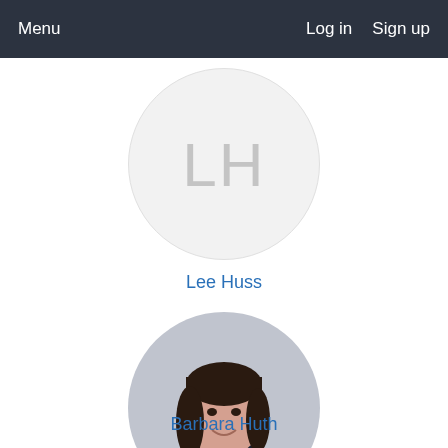Menu   Log in   Sign up
[Figure (illustration): Circular avatar placeholder with initials LH on light gray background]
Lee Huss
[Figure (photo): Portrait photo of Barbara Huth, a woman with dark hair wearing a dark floral top, cropped in a circle]
Barbara Huth